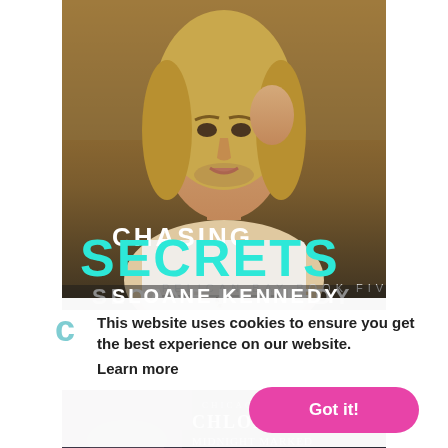[Figure (illustration): Book cover for 'Chasing Secrets' by Sloane Kennedy, Pelican Bay Book Five. Shows a young man with long blond hair and a white shirt against an outdoor background. Title 'CHASING SECRETS' in large teal/white text, 'PELICAN BAY BOOK FIVE' below, 'SLOANE KENNEDY' at the bottom.]
This website uses cookies to ensure you get the best experience on our website.
Learn more
Got it!
[Figure (illustration): Partial view of a second book cover by Chloe Neill, showing a woman and gothic/architectural elements. Text visible: 'CHLOE NEILL' and partial title.]